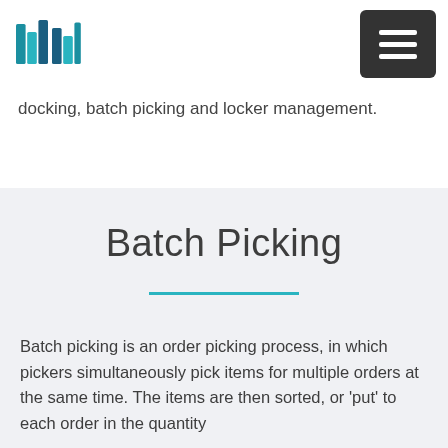[Logo] [Hamburger menu button]
docking, batch picking and locker management.
Batch Picking
Batch picking is an order picking process, in which pickers simultaneously pick items for multiple orders at the same time. The items are then sorted, or 'put' to each order in the quantity